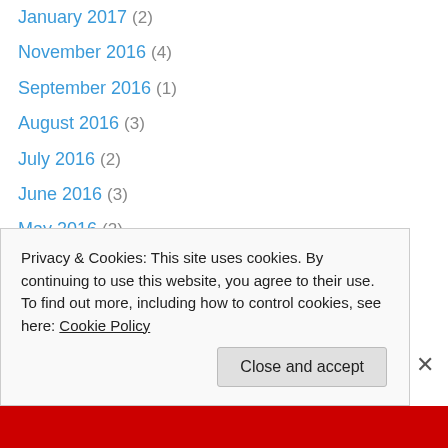January 2017 (2)
November 2016 (4)
September 2016 (1)
August 2016 (3)
July 2016 (2)
June 2016 (3)
May 2016 (2)
April 2016 (6)
March 2016 (2)
February 2016 (3)
January 2016 (3)
December 2015 (2)
November 2015 (2)
October 2015 (2)
Privacy & Cookies: This site uses cookies. By continuing to use this website, you agree to their use.
To find out more, including how to control cookies, see here: Cookie Policy